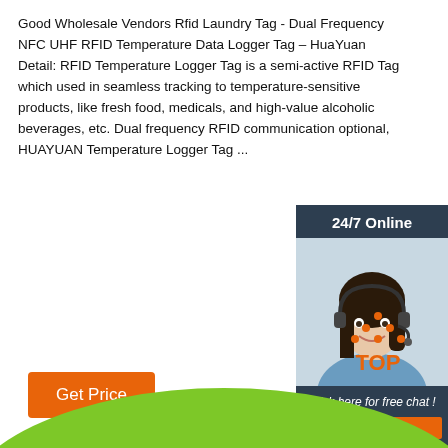Good Wholesale Vendors Rfid Laundry Tag - Dual Frequency NFC UHF RFID Temperature Data Logger Tag – HuaYuan Detail: RFID Temperature Logger Tag is a semi-active RFID Tag which used in seamless tracking to temperature-sensitive products, like fresh food, medicals, and high-value alcoholic beverages, etc. Dual frequency RFID communication optional, HUAYUAN Temperature Logger Tag ...
[Figure (other): Chat widget with 24/7 Online header, photo of a female customer service agent wearing a headset, text 'Click here for free chat!' and an orange QUOTATION button]
[Figure (other): Orange TOP button with dot-triangle icon above it, scroll-to-top widget]
[Figure (other): Green arc/ellipse shape at bottom of page]